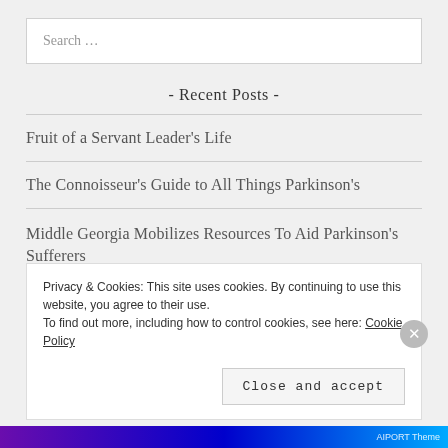Search …
- Recent Posts -
Fruit of a Servant Leader's Life
The Connoisseur's Guide to All Things Parkinson's
Middle Georgia Mobilizes Resources To Aid Parkinson's Sufferers
Privacy & Cookies: This site uses cookies. By continuing to use this website, you agree to their use. To find out more, including how to control cookies, see here: Cookie Policy
Close and accept